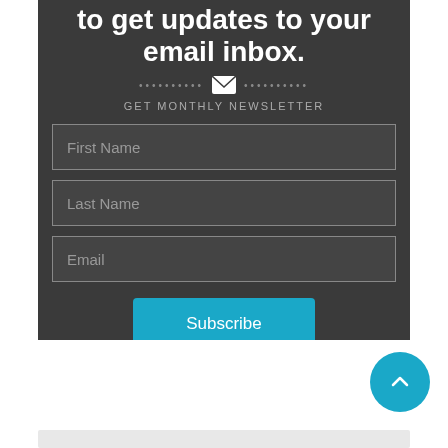to get updates to your email inbox.
[Figure (other): Decorative dots and envelope icon separator]
GET MONTHLY NEWSLETTER
First Name
Last Name
Email
Subscribe
[Figure (other): Teal circular back-to-top button with upward chevron arrow]